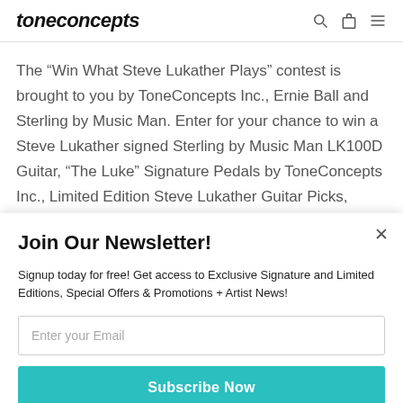toneconcepts
The “Win What Steve Lukather Plays” contest is brought to you by ToneConcepts Inc., Ernie Ball and Sterling by Music Man. Enter for your chance to win a Steve Lukather signed Sterling by Music Man LK100D Guitar, “The Luke” Signature Pedals by ToneConcepts Inc., Limited Edition Steve Lukather Guitar Picks, signed TOTO XIV CDs, and
Join Our Newsletter!
Signup today for free! Get access to Exclusive Signature and Limited Editions, Special Offers & Promotions + Artist News!
Enter your Email
Subscribe Now